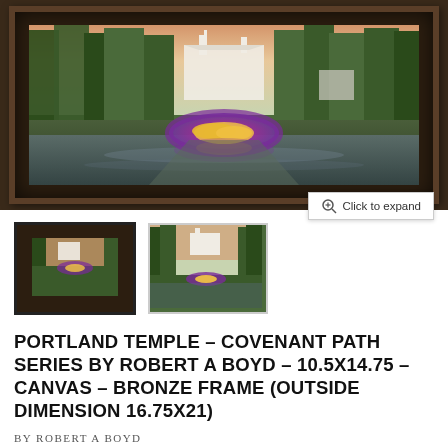[Figure (photo): Framed photograph of Portland Temple showing a white temple building through tall green trees with a colorful circular flower garden in the foreground reflecting in wet pavement, displayed in a dark bronze/brown frame]
Click to expand
[Figure (photo): Thumbnail 1 (active/selected): Small framed version of the Portland Temple image in dark frame]
[Figure (photo): Thumbnail 2: Small version of the Portland Temple image without frame]
PORTLAND TEMPLE – COVENANT PATH SERIES BY ROBERT A BOYD – 10.5X14.75 – CANVAS – BRONZE FRAME (OUTSIDE DIMENSION 16.75X21)
BY ROBERT A BOYD